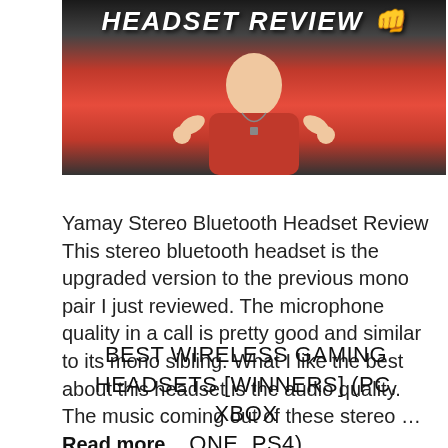[Figure (photo): Photo of a person in a red shirt giving thumbs up with 'HEADSET REVIEW' text overlaid at top]
Yamay Stereo Bluetooth Headset Review This stereo bluetooth headset is the upgraded version to the previous mono pair I just reviewed. The microphone quality in a call is pretty good and similar to its mono sibling. What I like the best about this headset is the audio quality. The music coming out of these stereo … Read more
BEST WIRELESS GAMING HEADSETS [WINNERS] (PC, XBOX ONE, PS4)